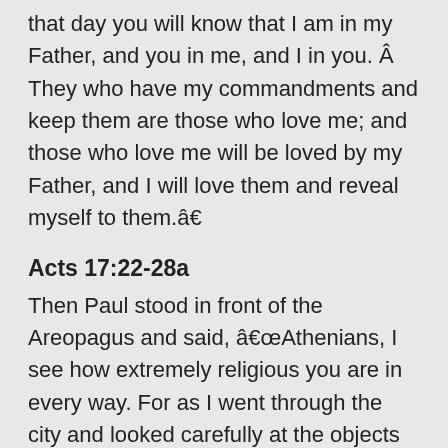that day you will know that I am in my Father, and you in me, and I in you. Â They who have my commandments and keep them are those who love me; and those who love me will be loved by my Father, and I will love them and reveal myself to them.â€
Acts 17:22-28a
Then Paul stood in front of the Areopagus and said, â€œAthenians, I see how extremely religious you are in every way. For as I went through the city and looked carefully at the objects of your worship, I found among them an altar with the inscription, â€˜To an unknown god.â€™ What therefore you worship as unknown, this I proclaim to you. The God who made the world and everything in it, he who is Lord of heaven and earth, does not live in shrines made by human hands, nor is he served by human hands, as though he needed anything, since he himself gives to